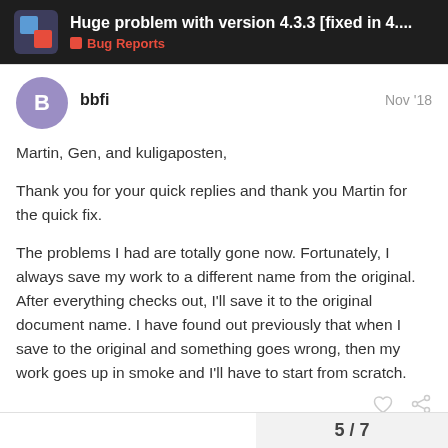Huge problem with version 4.3.3 [fixed in 4.... | Bug Reports
bbfi · Nov '18
Martin, Gen, and kuligaposten,
Thank you for your quick replies and thank you Martin for the quick fix.
The problems I had are totally gone now. Fortunately, I always save my work to a different name from the original. After everything checks out, I'll save it to the original document name. I have found out previously that when I save to the original and something goes wrong, then my work goes up in smoke and I'll have to start from scratch.
5 / 7